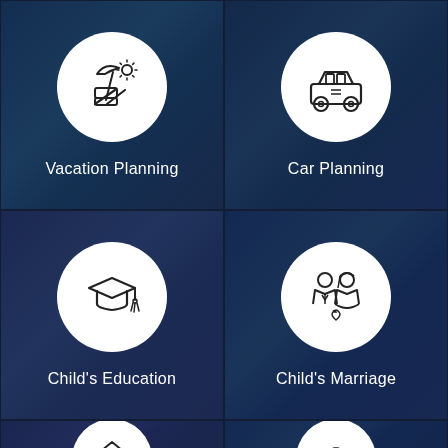[Figure (screenshot): Mobile app UI showing four financial goal planning categories in a 2x2 grid: Vacation Planning (beach/umbrella icon), Car Planning (car icon), Child's Education (graduation cap icon), Child's Marriage (couple icon), and two partially visible cells at the bottom]
Vacation Planning
Car Planning
Child's Education
Child's Marriage